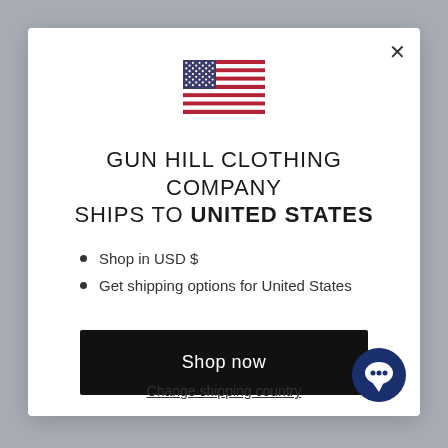[Figure (illustration): US flag SVG icon centered in modal]
GUN HILL CLOTHING COMPANY SHIPS TO UNITED STATES
Shop in USD $
Get shipping options for United States
Shop now
Change shipping country